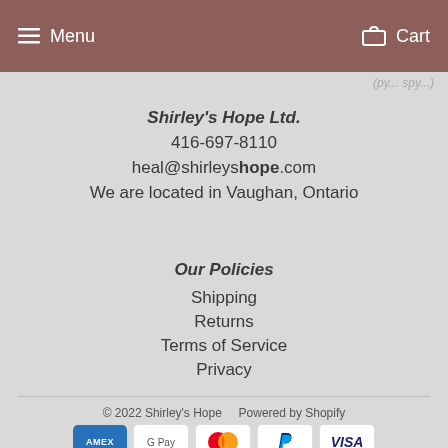Menu   Cart
(partial italic text visible at top right)
Shirley's Hope Ltd.
416-697-8110
heal@shirleyshope.com
We are located in Vaughan, Ontario
Our Policies
Shipping
Returns
Terms of Service
Privacy
© 2022 Shirley's Hope   Powered by Shopify
[Figure (logo): Payment method icons: American Express, Google Pay, Mastercard, PayPal, Visa]